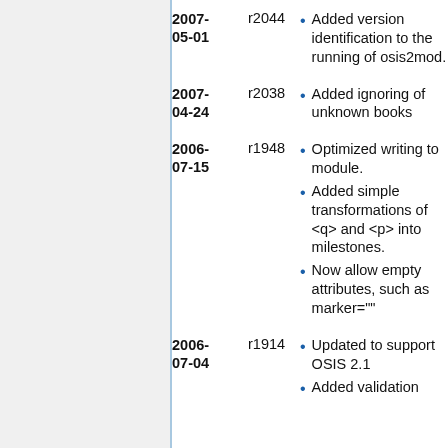2007-05-01 r2044 Added version identification to the running of osis2mod.
2007-04-24 r2038 Added ignoring of unknown books
2006-07-15 r1948 Optimized writing to module.
2006-07-15 r1948 Added simple transformations of <q> and <p> into milestones.
2006-07-15 r1948 Now allow empty attributes, such as marker=""
2006-07-04 r1914 Updated to support OSIS 2.1
2006-07-04 r1914 Added validation